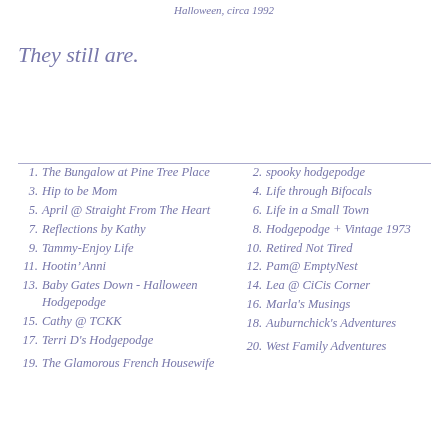Halloween, circa 1992
They still are.
1. The Bungalow at Pine Tree Place
2. spooky hodgepodge
3. Hip to be Mom
4. Life through Bifocals
5. April @ Straight From The Heart
6. Life in a Small Town
7. Reflections by Kathy
8. Hodgepodge + Vintage 1973
9. Tammy-Enjoy Life
10. Retired Not Tired
11. Hootin’ Anni
12. Pam@ EmptyNest
13. Baby Gates Down - Halloween Hodgepodge
14. Lea @ CiCis Corner
15. Cathy @ TCKK
16. Marla's Musings
17. Terri D's Hodgepodge
18. Auburnchick's Adventures
19. The Glamorous French Housewife
20. West Family Adventures